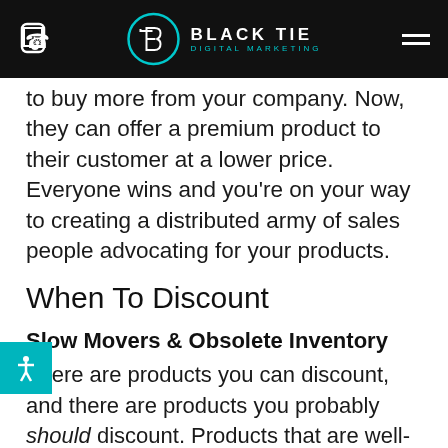Black Tie Digital Marketing
to buy more from your company. Now, they can offer a premium product to their customer at a lower price. Everyone wins and you’re on your way to creating a distributed army of sales people advocating for your products.
When To Discount
Slow Movers & Obsolete Inventory
There are products you can discount, and there are products you probably should discount. Products that are well-stocked in your own inventory and through distribution or retail that suffer poor sales figures can be sold well